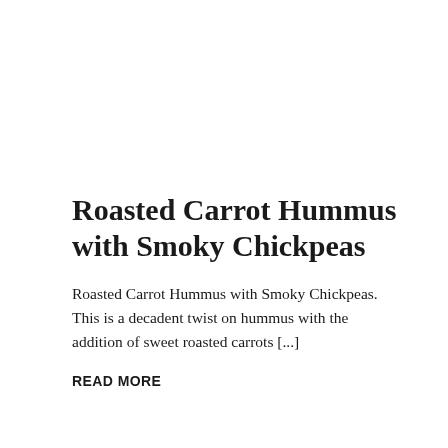Roasted Carrot Hummus with Smoky Chickpeas
Roasted Carrot Hummus with Smoky Chickpeas. This is a decadent twist on hummus with the addition of sweet roasted carrots [...]
READ MORE